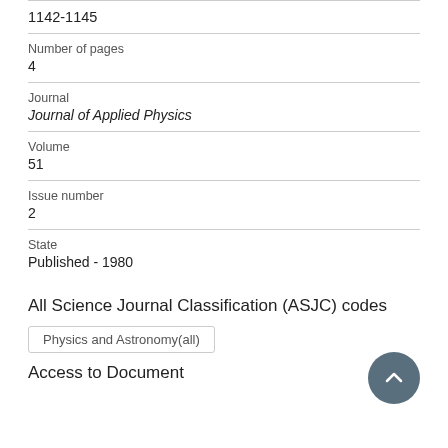1142-1145
Number of pages
4
Journal
Journal of Applied Physics
Volume
51
Issue number
2
State
Published - 1980
All Science Journal Classification (ASJC) codes
Physics and Astronomy(all)
Access to Document